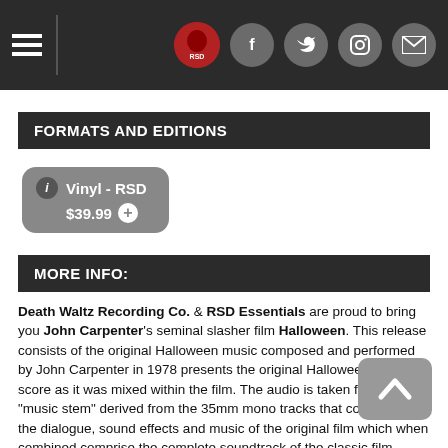Navigation bar with hamburger menu and social icons
FORMATS AND EDITIONS
Vinyl - RSD $39.99
MORE INFO:
Death Waltz Recording Co. & RSD Essentials are proud to bring you John Carpenter's seminal slasher film Halloween. This release consists of the original Halloween music composed and performed by John Carpenter in 1978 presents the original Halloween film score as it was mixed within the film. The audio is taken from the "music stem" derived from the 35mm mono tracks that comprised the dialogue, sound effects and music of the original film which when combined comprise the complete soundtrack of the classic film. The first LP album of Halloween, released in 1982, was a remix of the